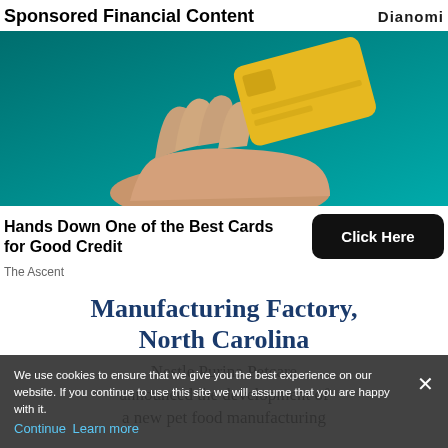Sponsored Financial Content — Dianomi
[Figure (photo): A hand held open with a gold credit card floating above it against a teal background.]
Hands Down One of the Best Cards for Good Credit
Click Here
The Ascent
Manufacturing Factory, North Carolina
Nestle Purina Petcare announced the development of a new pet food manufacturing
We use cookies to ensure that we give you the best experience on our website. If you continue to use this site we will assume that you are happy with it. Continue Learn more